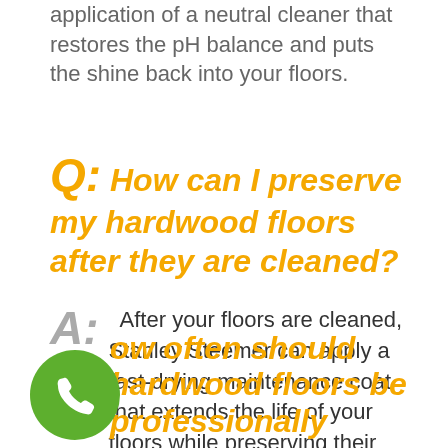application of a neutral cleaner that restores the pH balance and puts the shine back into your floors.
Q: How can I preserve my hardwood floors after they are cleaned?
A: After your floors are cleaned, Stanley Steemer can apply a fast-drying maintenance coat that extends the life of your floors while preserving their cleanliness and shine.
ow often should hardwood floors be professionally